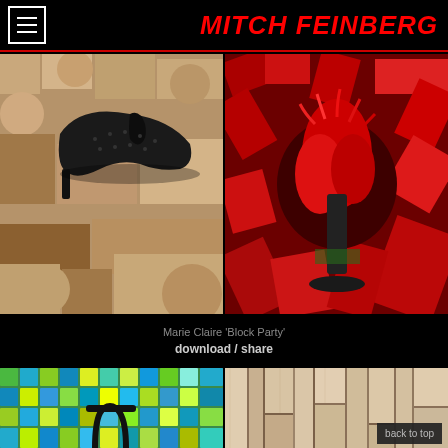MITCH FEINBERG
[Figure (photo): Black high-heel shoe on tan/beige wooden blocks — left side]
[Figure (photo): Red fluffy object among red wooden blocks — right side]
Marie Claire 'Block Party'
download / share
[Figure (photo): Colorful mosaic tiles in green, blue, yellow with black faucet — bottom left]
[Figure (photo): Light wood planks arranged in geometric pattern — bottom right]
back to top